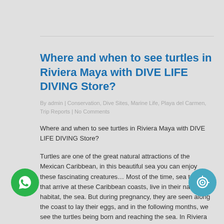Where and when to see turtles in Riviera Maya with DIVE LIFE DIVING Store?
By admin | Conservation, Dive Sites, Marine Life, Playa del Carmen, Trip Reports | No Comments
Where and when to see turtles in Riviera Maya with DIVE LIFE DIVING Store?
Turtles are one of the great natural attractions of the Mexican Caribbean, in this beautiful sea you can enjoy these fascinating creatures… Most of the time, sea turtles that arrive at these Caribbean coasts, live in their natural habitat, the sea. But during pregnancy, they are seen along the coast to lay their eggs, and in the following months, we see the turtles being born and reaching the sea. In Riviera Maya, there are